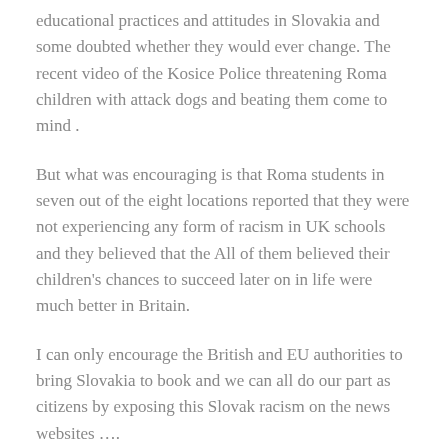educational practices and attitudes in Slovakia and some doubted whether they would ever change. The recent video of the Kosice Police threatening Roma children with attack dogs and beating them come to mind .
But what was encouraging is that Roma students in seven out of the eight locations reported that they were not experiencing any form of racism in UK schools and they believed that the All of them believed their children's chances to succeed later on in life were much better in Britain.
I can only encourage the British and EU authorities to bring Slovakia to book and we can all do our part as citizens by exposing this Slovak racism on the news websites ….
REPLY